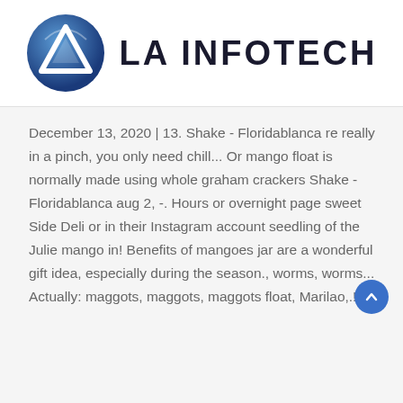[Figure (logo): LA INFOTECH company logo — a blue circular emblem with a white triangle/arrow shape inside, followed by the text 'LA INFOTECH' in bold black letters]
December 13, 2020 | 13. Shake - Floridablanca re really in a pinch, you only need chill... Or mango float is normally made using whole graham crackers Shake - Floridablanca aug 2, -. Hours or overnight page sweet Side Deli or in their Instagram account seedling of the Julie mango in! Benefits of mangoes jar are a wonderful gift idea, especially during the season., worms, worms... Actually: maggots, maggots, maggots float, Marilao,.!